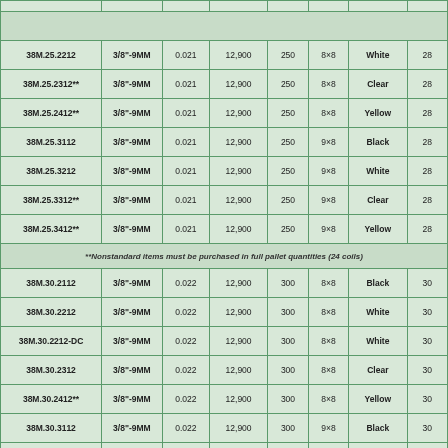| Part Number | Size | Thickness | Length | Weight | Pack | Color | Gauge |
| --- | --- | --- | --- | --- | --- | --- | --- |
| 38M.25.2212 | 3/8"-9MM | 0.021 | 12,900 | 250 | 8×8 | White | 28 |
| 38M.25.2312** | 3/8"-9MM | 0.021 | 12,900 | 250 | 8×8 | Clear | 28 |
| 38M.25.2412** | 3/8"-9MM | 0.021 | 12,900 | 250 | 8×8 | Yellow | 28 |
| 38M.25.3112 | 3/8"-9MM | 0.021 | 12,900 | 250 | 9×8 | Black | 28 |
| 38M.25.3212 | 3/8"-9MM | 0.021 | 12,900 | 250 | 9×8 | White | 28 |
| 38M.25.3312** | 3/8"-9MM | 0.021 | 12,900 | 250 | 9×8 | Clear | 28 |
| 38M.25.3412** | 3/8"-9MM | 0.021 | 12,900 | 250 | 9×8 | Yellow | 28 |
| **Nonstandard items must be purchased in full pallet quantities (24 coils) |
| 38M.30.2112 | 3/8"-9MM | 0.022 | 12,900 | 300 | 8×8 | Black | 30 |
| 38M.30.2212 | 3/8"-9MM | 0.022 | 12,900 | 300 | 8×8 | White | 30 |
| 38M.30.2212-DC | 3/8"-9MM | 0.022 | 12,900 | 300 | 8×8 | White | 30 |
| 38M.30.2312 | 3/8"-9MM | 0.022 | 12,900 | 300 | 8×8 | Clear | 30 |
| 38M.30.2412** | 3/8"-9MM | 0.022 | 12,900 | 300 | 8×8 | Yellow | 30 |
| 38M.30.3112 | 3/8"-9MM | 0.022 | 12,900 | 300 | 9×8 | Black | 30 |
| 38M.30.3212 | 3/8"-9MM | 0.022 | 12,900 | 300 | 9×8 | White | 30 |
| 38M.30.3312 | 3/8"-9MM | 0.022 | 12,900 | 300 | 9×8 | Clear | 30 |
| 38M.30.3412 | 3/8"-9MM | 0.022 | 12,900 | 300 | 9×8 | Yellow | 30 |